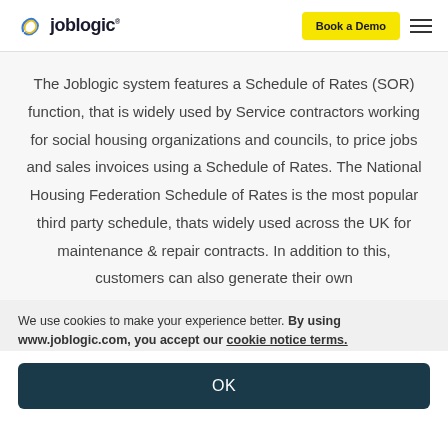Joblogic — Book a Demo
The Joblogic system features a Schedule of Rates (SOR) function, that is widely used by Service contractors working for social housing organizations and councils, to price jobs and sales invoices using a Schedule of Rates. The National Housing Federation Schedule of Rates is the most popular third party schedule, thats widely used across the UK for maintenance & repair contracts. In addition to this, customers can also generate their own
We use cookies to make your experience better. By using www.joblogic.com, you accept our cookie notice terms.
OK